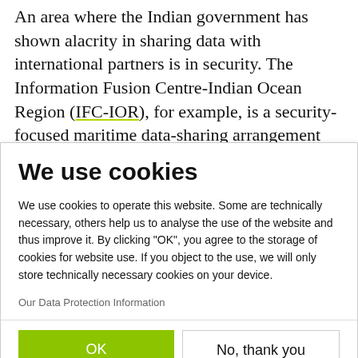An area where the Indian government has shown alacrity in sharing data with international partners is in security. The Information Fusion Centre-Indian Ocean Region (IFC-IOR), for example, is a security-focused maritime data-sharing arrangement set up in...
We use cookies
We use cookies to operate this website. Some are technically necessary, others help us to analyse the use of the website and thus improve it. By clicking "OK", you agree to the storage of cookies for website use. If you object to the use, we will only store technically necessary cookies on your device.
Our Data Protection Information
OK
No, thank you
Powered by PIWIK PRO